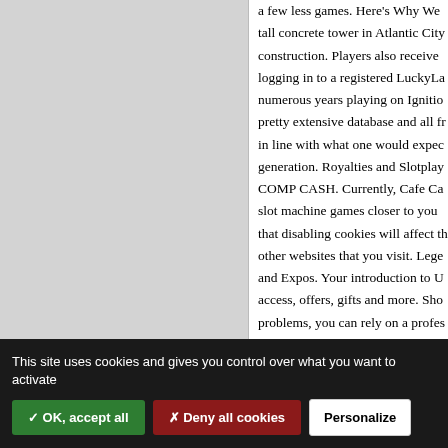a few less games. Here's Why We tall concrete tower in Atlantic City construction. Players also receive logging in to a registered LuckyLa numerous years playing on Ignition pretty extensive database and all fr in line with what one would expect generation. Royalties and Slotplay COMP CASH. Currently, Cafe Cas slot machine games closer to you a that disabling cookies will affect th other websites that you visit. Lege and Expos. Your introduction to U access, offers, gifts and more. Sho problems, you can rely on a profes
This site uses cookies and gives you control over what you want to activate